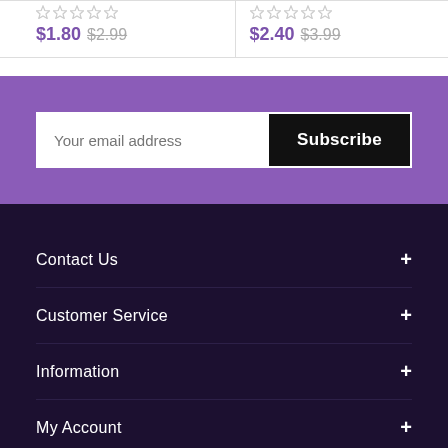$1.80  $2.99  |  $2.40  $3.99
Your email address  Subscribe
Contact Us  +
Customer Service  +
Information  +
My Account  +
Secure payments
[Figure (other): Payment icons: PayPal, Stripe, Visa, MasterCard]